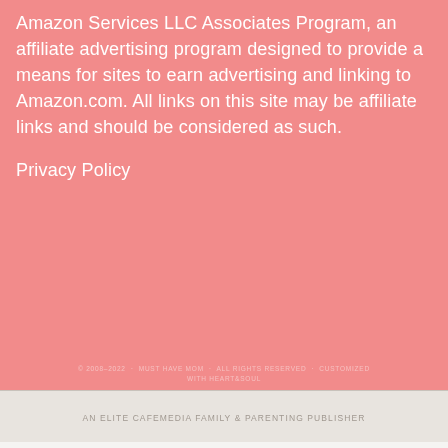Amazon Services LLC Associates Program, an affiliate advertising program designed to provide a means for sites to earn advertising and linking to Amazon.com. All links on this site may be affiliate links and should be considered as such.
Privacy Policy
© 2008–2022 · MUST HAVE MOM · ALL RIGHTS RESERVED · CUSTOMIZED WITH HEART&SOUL
AN ELITE CAFEMEDIA FAMILY & PARENTING PUBLISHER